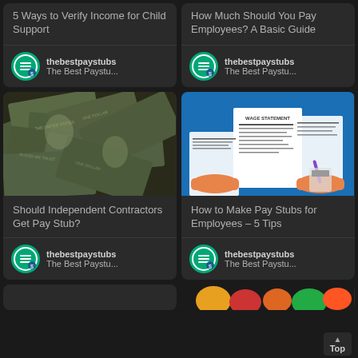5 Ways to Verify Income for Child Support
How Much Should You Pay Employees? A Basic Guide
thebestpaystubs
The Best Paystu...
thebestpaystubs
The Best Paystu...
[Figure (photo): Pile of US dollar bills viewed from above]
[Figure (illustration): Illustration of hands holding pay stubs and wage statement on blue background]
Should Independent Contractors Get Pay Stub?
How to Make Pay Stubs for Employees – 5 Tips
thebestpaystubs
The Best Paystu...
thebestpaystubs
The Best Paystu...